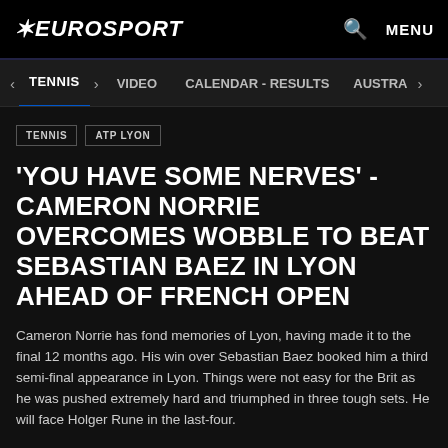EUROSPORT
TENNIS  VIDEO  CALENDAR - RESULTS  AUSTRA
TENNIS
ATP LYON
'YOU HAVE SOME NERVES' - CAMERON NORRIE OVERCOMES WOBBLE TO BEAT SEBASTIAN BAEZ IN LYON AHEAD OF FRENCH OPEN
Cameron Norrie has fond memories of Lyon, having made it to the final 12 months ago. His win over Sebastian Baez booked him a third semi-final appearance in Lyon. Things were not easy for the Brit as he was pushed extremely hard and triumphed in three tough sets. He will face Holger Rune in the last-four.